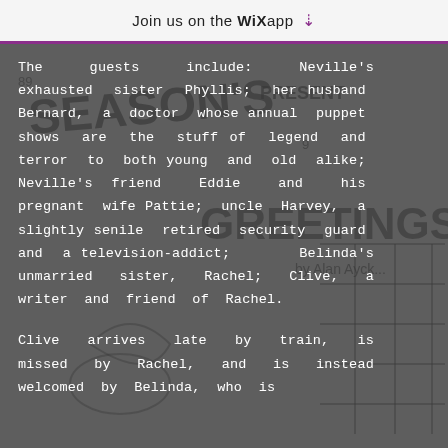Join us on the WiX app ↓
[Figure (illustration): Hand-drawn illustration of a Christmas/season greeting card scene with figures and a grid pattern on dark grey background. Text visible includes 'SEASON'S PRESENT GREETINGS by Alan Ayck...']
The guests include: Neville's exhausted sister Phyllis; her husband Bernard, a doctor whose annual puppet shows are the stuff of legend and terror to both young and old alike; Neville's friend Eddie and his pregnant wife Pattie; uncle Harvey, a slightly senile retired security guard and a television-addict; Belinda's unmarried sister, Rachel; Clive, a writer and friend of Rachel.
Clive arrives late by train, is missed by Rachel, and is instead welcomed by Belinda, who is